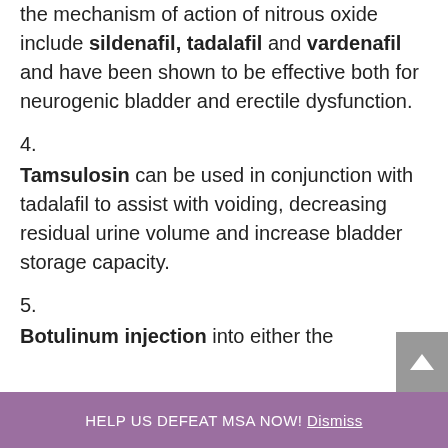the mechanism of action of nitrous oxide include sildenafil, tadalafil and vardenafil and have been shown to be effective both for neurogenic bladder and erectile dysfunction.
4.
Tamsulosin can be used in conjunction with tadalafil to assist with voiding, decreasing residual urine volume and increase bladder storage capacity.
5.
Botulinum injection into either the
HELP US DEFEAT MSA NOW! Dismiss